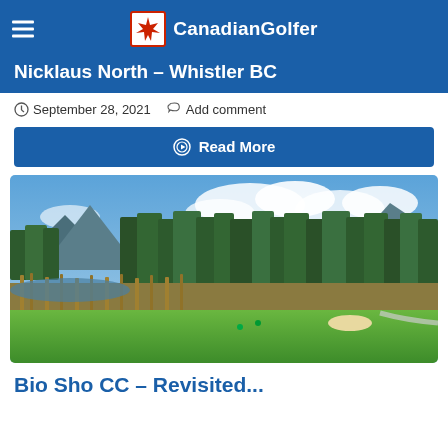CanadianGolfer
Nicklaus North – Whistler BC
September 28, 2021   Add comment
Read More
[Figure (photo): A scenic golf course photo at Nicklaus North in Whistler BC, showing a green fairway in the foreground, wetland reeds and a pond in the middle, dense green trees, and snow-capped mountains under a partly cloudy blue sky.]
Bio Sho CC - Revisited...